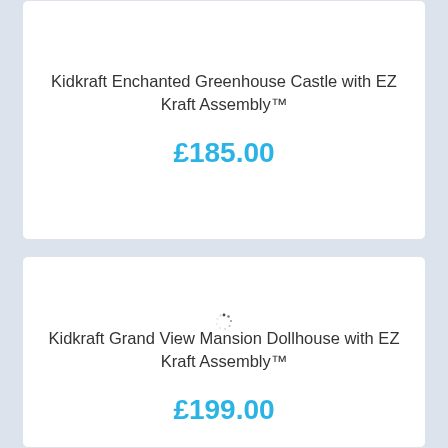Kidkraft Enchanted Greenhouse Castle with EZ Kraft Assembly™
£185.00
[Figure (other): Loading spinner indicating image is loading for the second product card]
Kidkraft Grand View Mansion Dollhouse with EZ Kraft Assembly™
£199.00